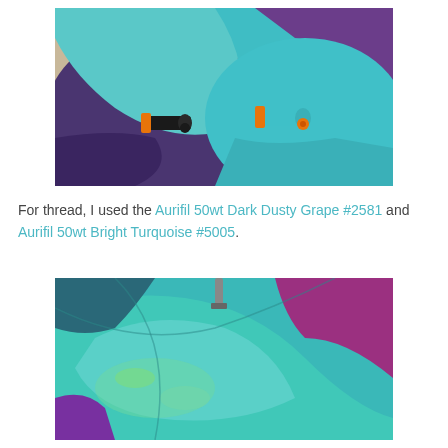[Figure (photo): Overhead photo of a quilt with purple and teal/turquoise curved fabric pieces, with two thread spools (one dark/orange, one teal/turquoise with orange) placed on the fabric.]
For thread, I used the Aurifil 50wt Dark Dusty Grape #2581 and Aurifil 50wt Bright Turquoise #5005.
[Figure (photo): Close-up photo of a quilt in progress showing teal, turquoise, magenta/purple curved fabric pieces sewn together with a sewing machine foot visible at top.]